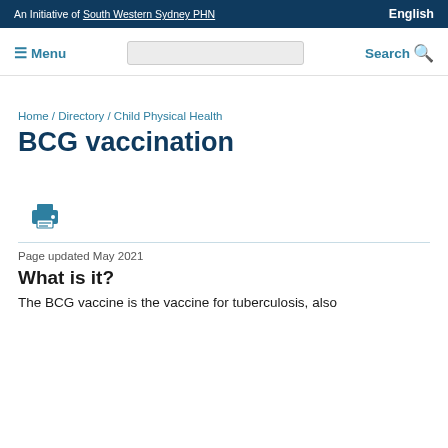An Initiative of South Western Sydney PHN | English
Menu | Search
Home / Directory / Child Physical Health
BCG vaccination
[Figure (illustration): Printer icon in teal/blue color]
Page updated May 2021
What is it?
The BCG vaccine is the vaccine for tuberculosis, also